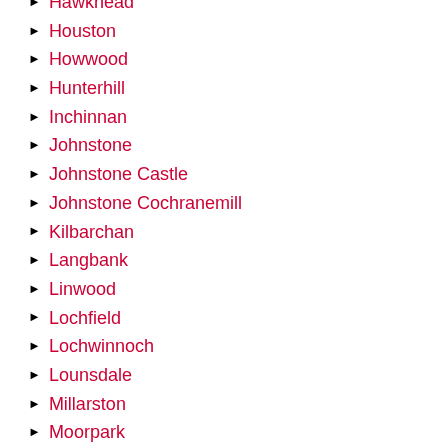Hawkhead
Houston
Howwood
Hunterhill
Inchinnan
Johnstone
Johnstone Castle
Johnstone Cochranemill
Kilbarchan
Langbank
Linwood
Lochfield
Lochwinnoch
Lounsdale
Millarston
Moorpark